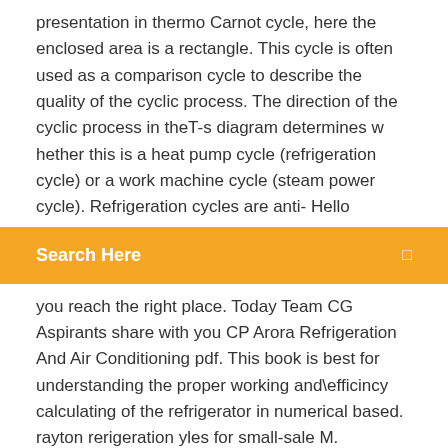presentation in thermo Carnot cycle, here the enclosed area is a rectangle. This cycle is often used as a comparison cycle to describe the quality of the cyclic process. The direction of the cyclic process in theT-s diagram determines w hether this is a heat pump cycle (refrigeration cycle) or a work machine cycle (steam power cycle). Refrigeration cycles are anti- Hello
[Figure (other): Orange search bar UI element with 'Search Here' label and a small icon on the right]
you reach the right place. Today Team CG Aspirants share with you CP Arora Refrigeration And Air Conditioning pdf. This book is best for understanding the proper working and\efficincy calculating of the refrigerator in numerical based. rayton rerigeration yles for small-sale M. ROBERTS, F. CHENand Ö. SAYGI-ARSLAN, Air Products and Cemicals Inc. fluid boiling or MR cycle is that the refrigeration is provided by sensibly warming the gaseous refrigeration stream (FIG. 1, steps 4 to 1). On the other hand, an MR cycle provides the bulk